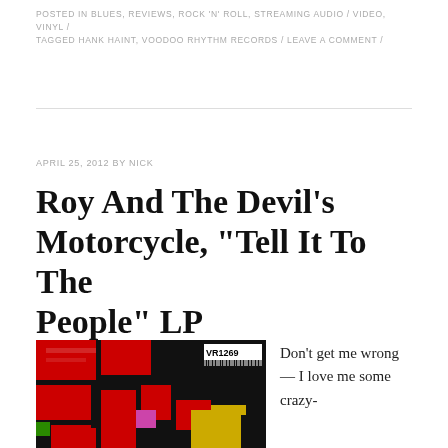POSTED IN BLUES, REVIEWS, ROCK 'N' ROLL, STREAMING AUDIO / VIDEO, VINYL / TAGGED HANK HAINT, VOODOO RHYTHM RECORDS / LEAVE A COMMENT /
APRIL 25, 2012 BY NICK
Roy And The Devil's Motorcycle, “Tell It To The People” LP
[Figure (photo): Album cover for Roy And The Devil's Motorcycle featuring bold colorful graphic typography in red, black, yellow, and other colors, with VR1269 label in top right corner]
Don’t get me wrong — I love me some crazy-